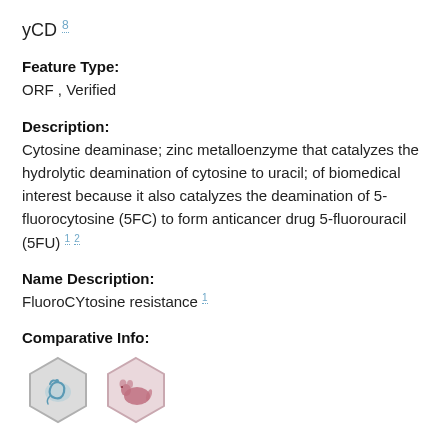yCD 8
Feature Type:
ORF , Verified
Description:
Cytosine deaminase; zinc metalloenzyme that catalyzes the hydrolytic deamination of cytosine to uracil; of biomedical interest because it also catalyzes the deamination of 5-fluorocytosine (5FC) to form anticancer drug 5-fluorouracil (5FU) 1 2
Name Description:
FluoroCYtosine resistance 1
Comparative Info:
[Figure (illustration): Two hexagonal icons: first with a blue/teal spiral/organism symbol on light gray background, second with a pink/mauve animal silhouette on light pink background]